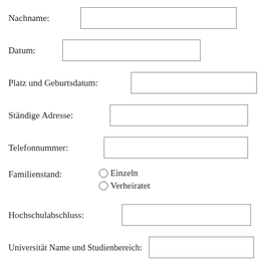Nachname:
Datum:
Platz und Geburtsdatum:
Ständige Adresse:
Telefonnummer:
Familienstand: Einzeln / Verheiratet (radio buttons)
Hochschulabschluss:
Universität Name und Studienbereich:
Beschäftigung Geschichte in den letzten 10 Jahren: (Geben Sie Ihre